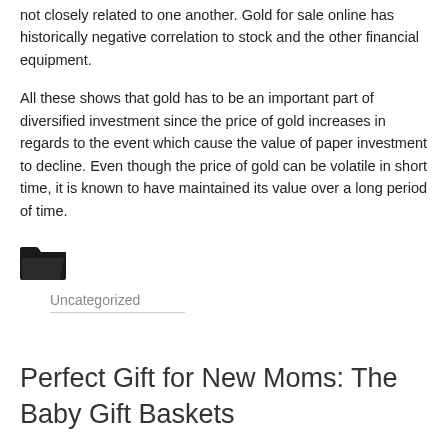not closely related to one another. Gold for sale online has historically negative correlation to stock and the other financial equipment.
All these shows that gold has to be an important part of diversified investment since the price of gold increases in regards to the event which cause the value of paper investment to decline. Even though the price of gold can be volatile in short time, it is known to have maintained its value over a long period of time.
[Figure (illustration): Open folder icon (dark/black)]
Uncategorized
Perfect Gift for New Moms: The Baby Gift Baskets